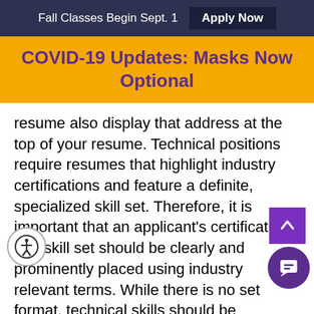Fall Classes Begin Sept. 1   Apply Now
COVID-19 Updates: Masks Now Optional
resume also display that address at the top of your resume. Technical positions require resumes that highlight industry certifications and feature a definite, specialized skill set. Therefore, it is important that an applicant's certifications and skill set should be clearly and prominently placed using industry relevant terms. While there is no set format, technical skills should be presented just below the objective, in list form if possible, and organized to meet the requirements of the position. It is a good idea to keep a technical resume constantly updated.